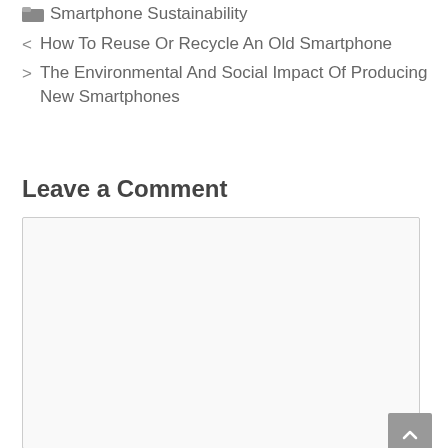Smartphone Sustainability
How To Reuse Or Recycle An Old Smartphone
The Environmental And Social Impact Of Producing New Smartphones
Leave a Comment